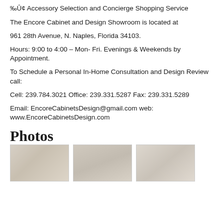‰Û¢ Accessory Selection and Concierge Shopping Service
The Encore Cabinet and Design Showroom is located at
961 28th Avenue, N. Naples, Florida 34103.
Hours: 9:00 to 4:00 – Mon- Fri. Evenings & Weekends by Appointment.
To Schedule a Personal In-Home Consultation and Design Review call:
Cell: 239.784.3021 Office: 239.331.5287 Fax: 239.331.5289
Email: EncoreCabinetsDesign@gmail.com web: www.EncoreCabinetsDesign.com
Photos
[Figure (photo): Three thumbnail photos of cabinet/design showroom or products]